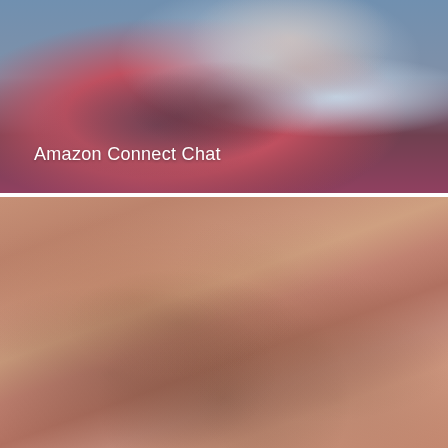[Figure (photo): Photo of a smiling woman in a red blazer using a tablet, with blue/grey background. Text overlay reads 'Amazon Connect Chat' in white.]
[Figure (photo): Photo with warm brown/terracotta tones showing a blurred outdoor scene with people silhouettes.]